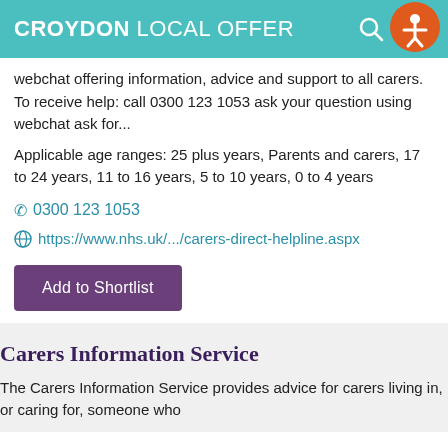CROYDON LOCAL OFFER
webchat offering information, advice and support to all carers. To receive help: call 0300 123 1053 ask your question using webchat ask for...
Applicable age ranges: 25 plus years, Parents and carers, 17 to 24 years, 11 to 16 years, 5 to 10 years, 0 to 4 years
0300 123 1053
https://www.nhs.uk/.../carers-direct-helpline.aspx
Add to Shortlist
Carers Information Service
The Carers Information Service provides advice for carers living in, or caring for, someone who